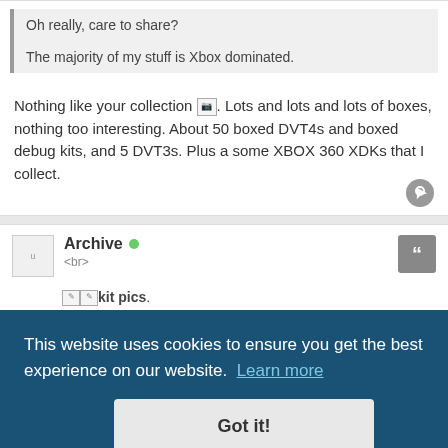Oh really, care to share?
The majority of my stuff is Xbox dominated.
Nothing like your collection [Image]. Lots and lots and lots of boxes, nothing too interesting. About 50 boxed DVT4s and boxed debug kits, and 5 DVT3s. Plus a some XBOX 360 XDKs that I collect.
Archive
kit pics.
June 25th, 2013, 7:14 am
posted by Psycho on Jun 9, 2013.
This website uses cookies to ensure you get the best experience on our website.  Learn more
Got it!